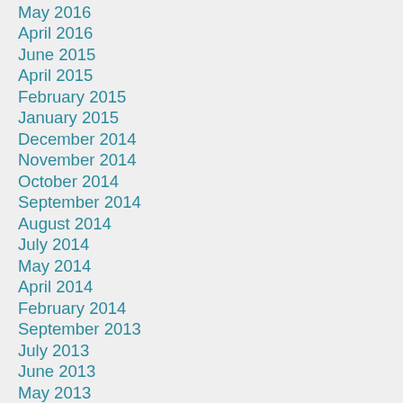May 2016
April 2016
June 2015
April 2015
February 2015
January 2015
December 2014
November 2014
October 2014
September 2014
August 2014
July 2014
May 2014
April 2014
February 2014
September 2013
July 2013
June 2013
May 2013
April 2013
March 2013
February 2013